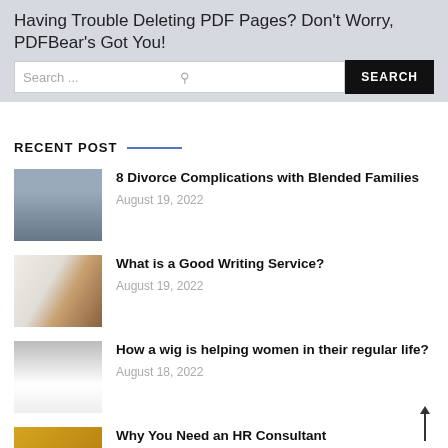Having Trouble Deleting PDF Pages? Don’t Worry, PDFBear’s Got You!
Search ...
RECENT POST
[Figure (photo): Thumbnail image of a person]
8 Divorce Complications with Blended Families
August 19, 2022
[Figure (photo): Thumbnail image of a book/writing surface]
What is a Good Writing Service?
August 19, 2022
[Figure (photo): Thumbnail image of women]
How a wig is helping women in their regular life?
August 18, 2022
[Figure (photo): Thumbnail image partially visible at bottom]
Why You Need an HR Consultant